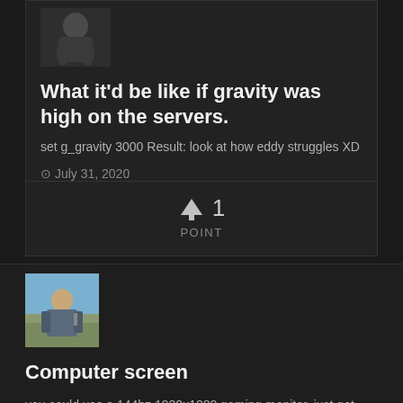[Figure (photo): Small avatar image of a dark character/bigfoot silhouette]
What it'd be like if gravity was high on the servers.
set g_gravity 3000 Result: look at how eddy struggles XD
July 31, 2020
↑ 1
POINT
[Figure (photo): Avatar image of a soldier/character holding a weapon in a light sky background]
Computer screen
you could use a 144hz 1920x1080 gaming monitor. just get one that costs around €255, cheaping out on it may give you some undesirable results. my next laptop is planned to...
July 27, 2020